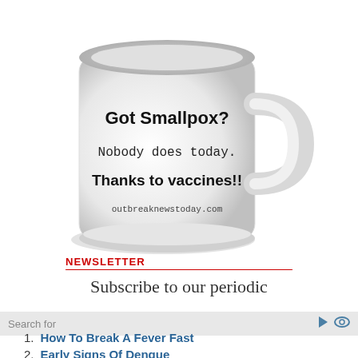[Figure (photo): A white ceramic mug with text on it: 'Got Smallpox?' in bold, 'Nobody does today.' in handwritten font, 'Thanks to vaccines!!' in bold, and 'outbreaknewstoday.com' in small text at the bottom.]
NEWSLETTER
Subscribe to our periodic
Search for
1. How To Break A Fever Fast
2. Early Signs Of Dengue